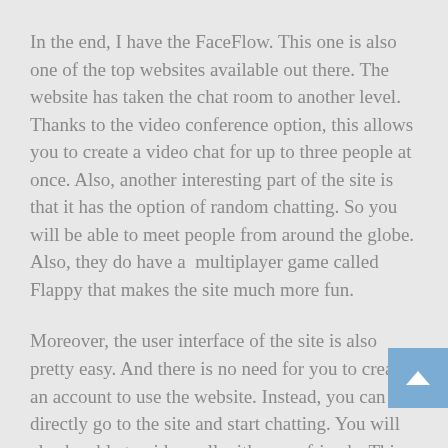In the end, I have the FaceFlow. This one is also one of the top websites available out there. The website has taken the chat room to another level. Thanks to the video conference option, this allows you to create a video chat for up to three people at once. Also, another interesting part of the site is that it has the option of random chatting. So you will be able to meet people from around the globe. Also, they do have a  multiplayer game called Flappy that makes the site much more fun.
Moreover, the user interface of the site is also pretty easy. And there is no need for you to create an account to use the website. Instead, you can directly go to the site and start chatting. You will also be able to video call with some friends. This means you can share a video chatting link with your friends, and they can join you on the platform. Also, they do not need to create an account. But by creating an